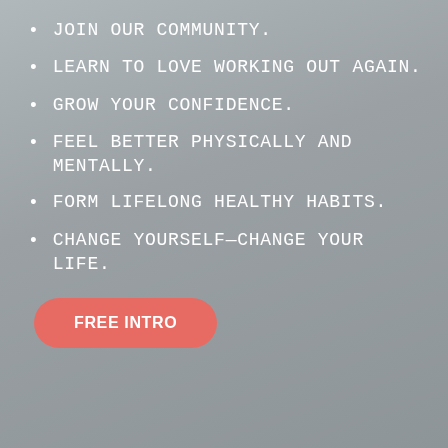JOIN OUR COMMUNITY.
LEARN TO LOVE WORKING OUT AGAIN.
GROW YOUR CONFIDENCE.
FEEL BETTER PHYSICALLY AND MENTALLY.
FORM LIFELONG HEALTHY HABITS.
CHANGE YOURSELF—CHANGE YOUR LIFE.
FREE INTRO